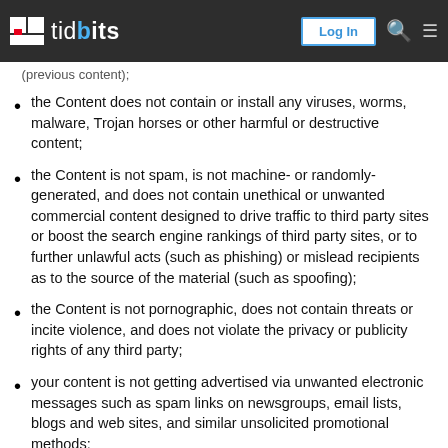tidbits — Log In
the Content does not contain or install any viruses, worms, malware, Trojan horses or other harmful or destructive content;
the Content is not spam, is not machine- or randomly-generated, and does not contain unethical or unwanted commercial content designed to drive traffic to third party sites or boost the search engine rankings of third party sites, or to further unlawful acts (such as phishing) or mislead recipients as to the source of the material (such as spoofing);
the Content is not pornographic, does not contain threats or incite violence, and does not violate the privacy or publicity rights of any third party;
your content is not getting advertised via unwanted electronic messages such as spam links on newsgroups, email lists, blogs and web sites, and similar unsolicited promotional methods;